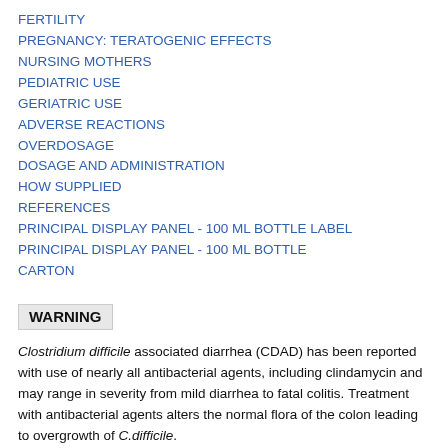FERTILITY
PREGNANCY: TERATOGENIC EFFECTS
NURSING MOTHERS
PEDIATRIC USE
GERIATRIC USE
ADVERSE REACTIONS
OVERDOSAGE
DOSAGE AND ADMINISTRATION
HOW SUPPLIED
REFERENCES
PRINCIPAL DISPLAY PANEL - 100 ML BOTTLE LABEL
PRINCIPAL DISPLAY PANEL - 100 ML BOTTLE CARTON
WARNING
Clostridium difficile associated diarrhea (CDAD) has been reported with use of nearly all antibacterial agents, including clindamycin and may range in severity from mild diarrhea to fatal colitis. Treatment with antibacterial agents alters the normal flora of the colon leading to overgrowth of C.difficile.